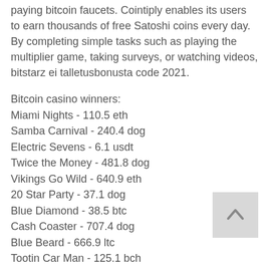paying bitcoin faucets. Cointiply enables its users to earn thousands of free Satoshi coins every day. By completing simple tasks such as playing the multiplier game, taking surveys, or watching videos, bitstarz ei talletusbonusta code 2021.
Bitcoin casino winners:
Miami Nights - 110.5 eth
Samba Carnival - 240.4 dog
Electric Sevens - 6.1 usdt
Twice the Money - 481.8 dog
Vikings Go Wild - 640.9 eth
20 Star Party - 37.1 dog
Blue Diamond - 38.5 btc
Cash Coaster - 707.4 dog
Blue Beard - 666.9 ltc
Tootin Car Man - 125.1 bch
Duck of Luck Returns - 86.8 bch
Sweet Life - 342.7 bch
Fruits and Stars - 698.4 usdt